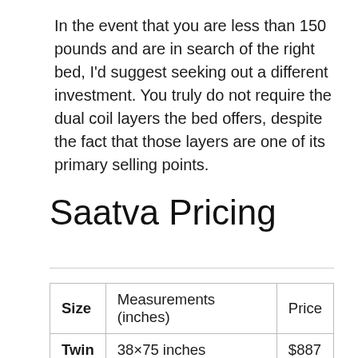In the event that you are less than 150 pounds and are in search of the right bed, I'd suggest seeking out a different investment. You truly do not require the dual coil layers the bed offers, despite the fact that those layers are one of its primary selling points.
Saatva Pricing
| Size | Measurements (inches) | Price |
| --- | --- | --- |
| Twin | 38×75 inches | $887 |